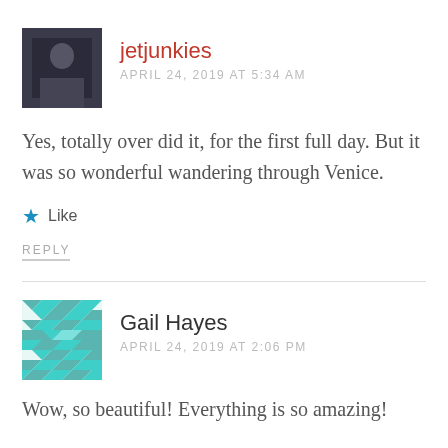[Figure (photo): Avatar photo of jetjunkies commenter - dark background photo of a person]
jetjunkies
APRIL 24, 2019 AT 5:34 AM
Yes, totally over did it, for the first full day. But it was so wonderful wandering through Venice.
★ Like
REPLY
[Figure (illustration): Avatar pattern for Gail Hayes - teal/turquoise geometric diamond/square pattern]
Gail Hayes
APRIL 24, 2019 AT 2:06 PM
Wow, so beautiful! Everything is so amazing!